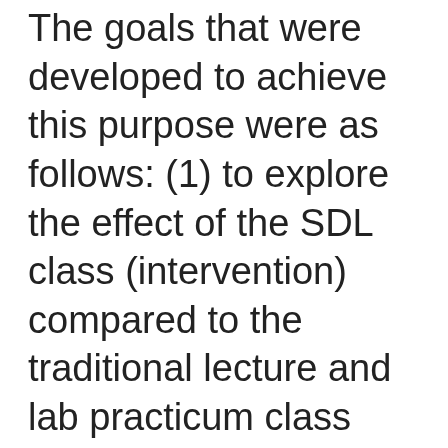The goals that were developed to achieve this purpose were as follows: (1) to explore the effect of the SDL class (intervention) compared to the traditional lecture and lab practicum class (control) by comparing student competency in physical assessment; (2) to explore the effect of the intervention compared to the